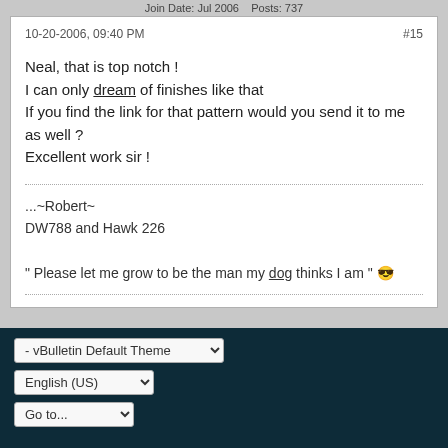Join Date: Jul 2006   Posts: 737
10-20-2006, 09:40 PM
#15

Neal, that is top notch !
I can only dream of finishes like that
If you find the link for that pattern would you send it to me as well ?
Excellent work sir !

...~Robert~
DW788 and Hawk 226

" Please let me grow to be the man my dog thinks I am " 😎
Pagination: 1 2 3 4 Next
- vBulletin Default Theme
English (US)
Go to...